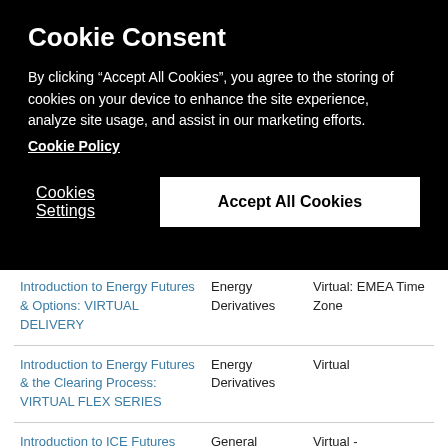Cookie Consent
By clicking “Accept All Cookies”, you agree to the storing of cookies on your device to enhance the site experience, analyze site usage, and assist in our marketing efforts.
Cookie Policy
Cookies Settings
Accept All Cookies
| Course | Category | Location |
| --- | --- | --- |
| Introduction to Energy Futures & Options: VIRTUAL DELIVERY | Energy Derivatives | Virtual: EMEA Time Zone |
| Introduction to Energy Futures & the Clearing Process: VIRTUAL FLEX SERIES | Energy Derivatives | Virtual |
| Introduction to ICE Futures and ICE Clear Europe: VIRTUAL DELIVERY | General | Virtual - Asian/EMEA Time Zone |